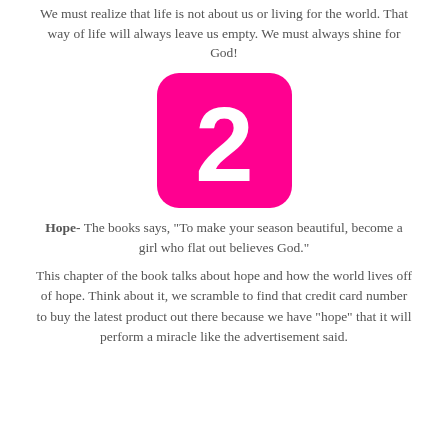We must realize that life is not about us or living for the world. That way of life will always leave us empty. We must always shine for God!
[Figure (illustration): Pink rounded square with a large white number 2 in the center, resembling an app icon.]
Hope- The books says, “To make your season beautiful, become a girl who flat out believes God.”
This chapter of the book talks about hope and how the world lives off of hope. Think about it, we scramble to find that credit card number to buy the latest product out there because we have “hope” that it will perform a miracle like the advertisement said.